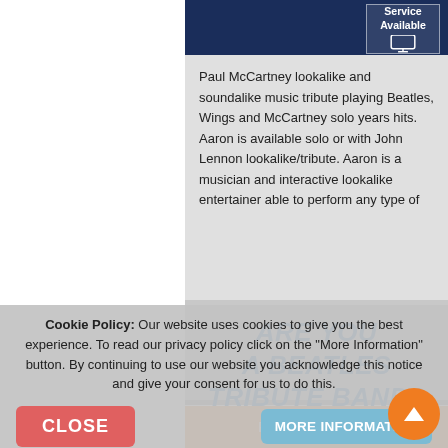[Figure (screenshot): Service Available badge with monitor icon on dark navy blue background]
Paul McCartney lookalike and soundalike music tribute playing Beatles, Wings and McCartney solo years hits. Aaron is available solo or with John Lennon lookalike/tribute. Aaron is a musician and interactive lookalike entertainer able to perform any type of
View Full Profile
Request a Quote
ARE YOU A BEATLES TRIBUTE BAND?
Cookie Policy: Our website uses cookies to give you the best experience. To read our privacy policy click on the "More Information" button. By continuing to use our website you acknowledge this notice and give your consent for us to do this.
CLOSE
MORE INFORMATION